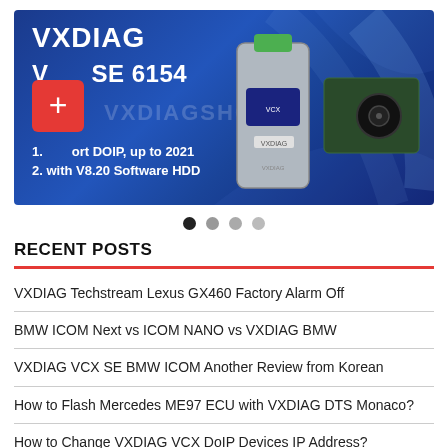[Figure (screenshot): VXDIAG VCX SE 6154 product banner. Blue gradient background with text: VXDIAG, VCX SE 6154, 1. Support DOIP, up to 2021, 2. with V8.20 Software HDD. Red plus-icon box on left. Diagnostic device and hard drive images on right. Watermark: VXDIAGSHOP.]
[Figure (other): Carousel navigation dots: four dots, first (leftmost) is dark/active, remaining three are lighter gray.]
RECENT POSTS
VXDIAG Techstream Lexus GX460 Factory Alarm Off
BMW ICOM Next vs ICOM NANO vs VXDIAG BMW
VXDIAG VCX SE BMW ICOM Another Review from Korean
How to Flash Mercedes ME97 ECU with VXDIAG DTS Monaco?
How to Change VXDIAG VCX DoIP Devices IP Address?